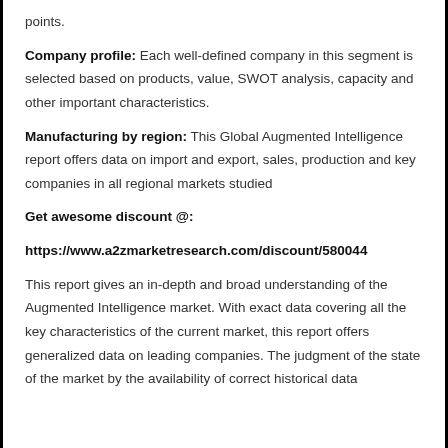points.
Company profile: Each well-defined company in this segment is selected based on products, value, SWOT analysis, capacity and other important characteristics.
Manufacturing by region: This Global Augmented Intelligence report offers data on import and export, sales, production and key companies in all regional markets studied
Get awesome discount @:
https://www.a2zmarketresearch.com/discount/580044
This report gives an in-depth and broad understanding of the Augmented Intelligence market. With exact data covering all the key characteristics of the current market, this report offers generalized data on leading companies. The judgment of the state of the market by the availability of correct historical data